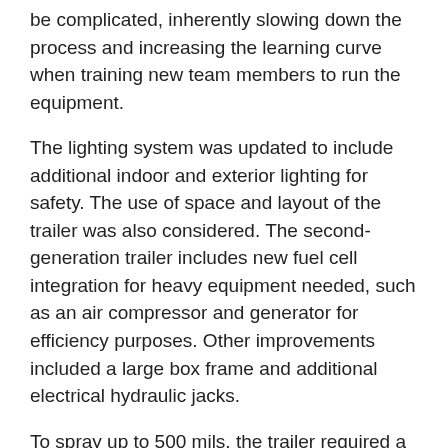be complicated, inherently slowing down the process and increasing the learning curve when training new team members to run the equipment.
The lighting system was updated to include additional indoor and exterior lighting for safety. The use of space and layout of the trailer was also considered. The second-generation trailer includes new fuel cell integration for heavy equipment needed, such as an air compressor and generator for efficiency purposes. Other improvements included a large box frame and additional electrical hydraulic jacks.
To spray up to 500 mils, the trailer required a robust system capable of handling the product. Taking all factors into consideration, the XP50 Graco Sprayer was selected. A&W Coatings Project Engineer, Wesley Maples, was instrumental in selecting this new equipment and the overall trailer design. When explaining the reason for choosing Graco's XP50 plural component sprayer, Wesley noted several benefits: